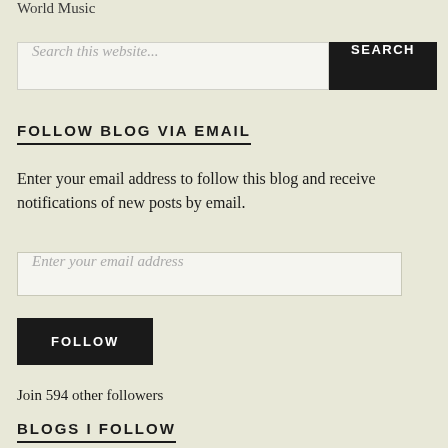World Music
[Figure (other): Search bar with text input placeholder 'Search this website...' and a black SEARCH button]
FOLLOW BLOG VIA EMAIL
Enter your email address to follow this blog and receive notifications of new posts by email.
[Figure (other): Email input field with placeholder 'Enter your email address']
[Figure (other): Black FOLLOW button]
Join 594 other followers
BLOGS I FOLLOW